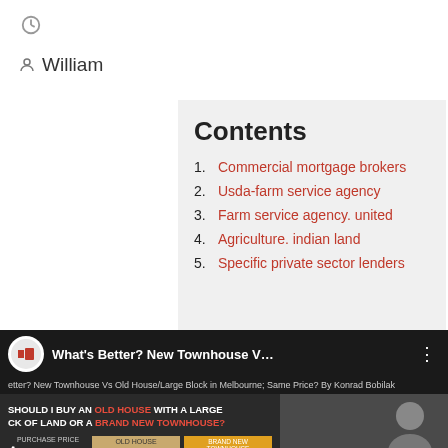[Figure (other): Clock icon]
William
Contents
1. Commercial mortgage brokers
2. Usda-farm service agency
3. Farm service agency. united
4. Agriculture. indian land
5. Specific private sector lenders
[Figure (screenshot): YouTube video thumbnail showing 'What's Better? New Townhouse V...' by Konrad Bobilak, with slide text 'SHOULD I BUY AN OLD HOUSE WITH A LARGE CK OF LAND OR A BRAND NEW TOWNHOUSE?']